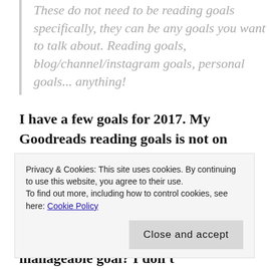These do not need to be reading goals specifically, they can be any goals you want to talk about. Reading goals, blog/channel/instagram goals, personal goals... anything!
I have a few goals for 2017. My Goodreads reading goals is not on this list, because I haven't decided yet how many books I want to read in 2017. I'm planning on maybe starting school in the fall, and that will take a lot of my time. What is a manageable goal? I don't
Privacy & Cookies: This site uses cookies. By continuing to use this website, you agree to their use.
To find out more, including how to control cookies, see here: Cookie Policy
Close and accept